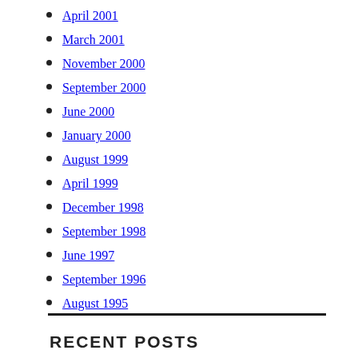April 2001
March 2001
November 2000
September 2000
June 2000
January 2000
August 1999
April 1999
December 1998
September 1998
June 1997
September 1996
August 1995
RECENT POSTS